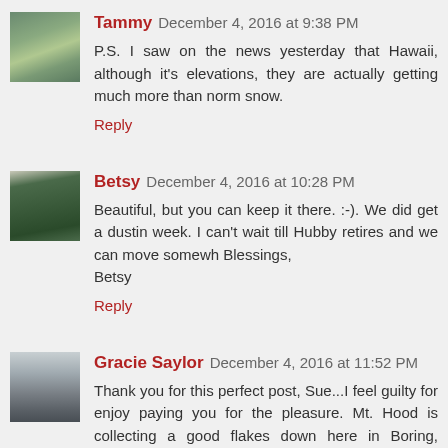Tammy December 4, 2016 at 9:38 PM
P.S. I saw on the news yesterday that Hawaii, although it's elevations, they are actually getting much more than norm snow.
Reply
Betsy December 4, 2016 at 10:28 PM
Beautiful, but you can keep it there. :-). We did get a dustin week. I can't wait till Hubby retires and we can move somewh Blessings,
Betsy
Reply
Gracie Saylor December 4, 2016 at 11:52 PM
Thank you for this perfect post, Sue...I feel guilty for enjoy paying you for the pleasure. Mt. Hood is collecting a good flakes down here in Boring, Oregon, tomorrow morning. Unl prospect of snow here with joy! xx
Reply